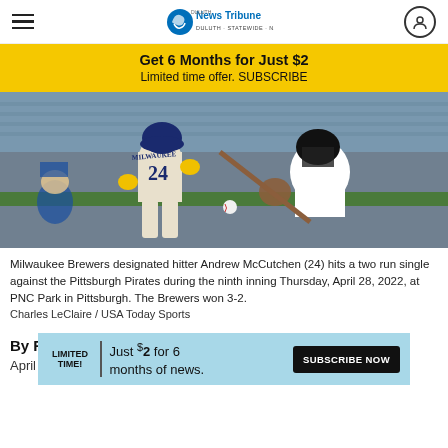Duluth News Tribune
Get 6 Months for Just $2
Limited time offer. SUBSCRIBE
[Figure (photo): Milwaukee Brewers designated hitter Andrew McCutchen (24) hitting a baseball, with a Pittsburgh Pirates catcher behind him, at PNC Park.]
Milwaukee Brewers designated hitter Andrew McCutchen (24) hits a two run single against the Pittsburgh Pirates during the ninth inning Thursday, April 28, 2022, at PNC Park in Pittsburgh. The Brewers won 3-2.
Charles LeClaire / USA Today Sports
By Fiel
April 28
LIMITED TIME! Just $2 for 6 months of news. SUBSCRIBE NOW